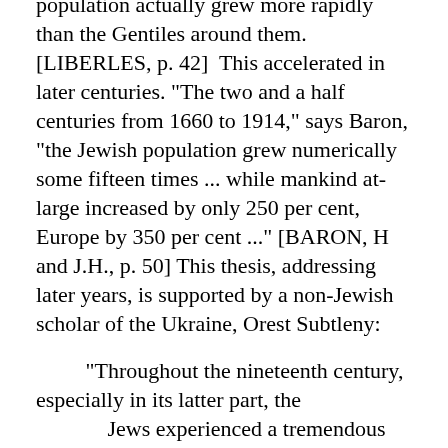population actually grew more rapidly than the Gentiles around them. [LIBERLES, p. 42]  This accelerated in later centuries. "The two and a half centuries from 1660 to 1914," says Baron, "the Jewish population grew numerically some fifteen times ... while mankind at-large increased by only 250 per cent, Europe by 350 per cent ..." [BARON, H and J.H., p. 50] This thesis, addressing later years, is supported by a non-Jewish scholar of the Ukraine, Orest Subtleny:

        "Throughout the nineteenth century, especially in its latter part, the
                Jews experienced a tremendous population rise. Between 1820 and